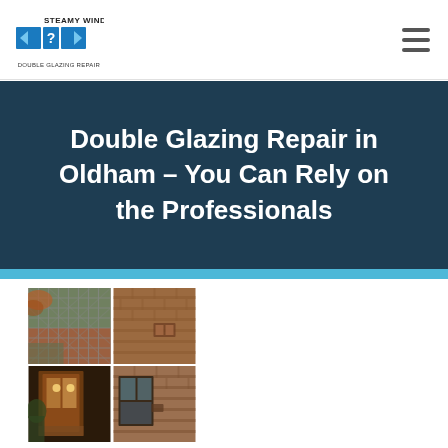Steamy Windows – Double Glazing Repair (logo) | hamburger menu
Double Glazing Repair in Oldham – You Can Rely on the Professionals
[Figure (photo): Four-panel photo collage showing double glazing window installations and repairs on a brick house: top-left shows a diamond-lattice window frame exterior, top-right shows brick wall detail, bottom-left shows a door/window interior view at dusk, bottom-right shows brick wall and window exterior.]